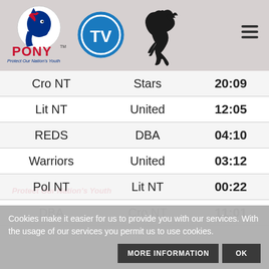[Figure (logo): PONY Baseball TV and horse logos in header bar]
| Team 1 | Team 2 | Score/Time |
| --- | --- | --- |
| Cro NT | Stars | 20:09 |
| Lit NT | United | 12:05 |
| REDS | DBA | 04:10 |
| Warriors | United | 03:12 |
| Pol NT | Lit NT | 00:22 |
| DBA | Cro NT | 11:01 |
| Stars | REDS | 07:13 |
| Warriors | Lit NT | 02:09 |
| United | Pol NT | 12:11 |
| REDS | Cro NT | 14:10 |
| DBA | Stars | 07:03 |
Cookies make it easier for us to provide you with our services. With the usage of our services you permit us to use cookies.